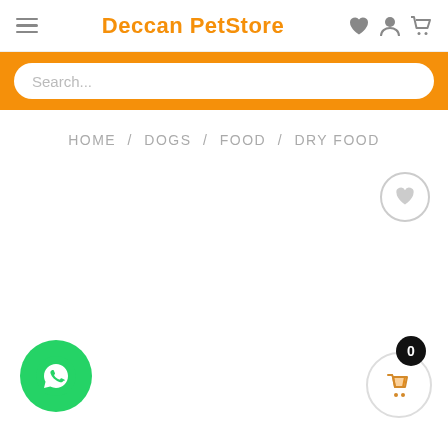Deccan PetStore
Search...
HOME / DOGS / FOOD / DRY FOOD
[Figure (screenshot): Wishlist heart icon button (circle outline with heart inside)]
[Figure (screenshot): WhatsApp floating action button (green circle with phone/chat icon)]
[Figure (screenshot): Shopping cart button with badge showing 0]